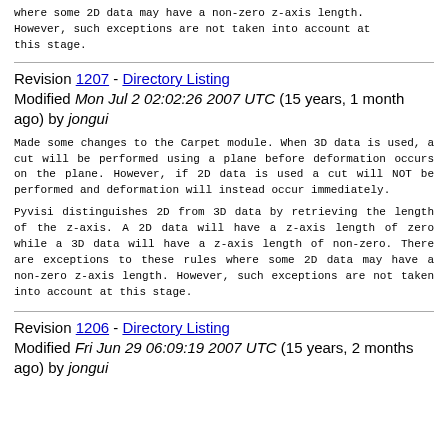where some 2D data may have a non-zero z-axis length. However, such exceptions are not taken into account at this stage.
Revision 1207 - Directory Listing
Modified Mon Jul 2 02:02:26 2007 UTC (15 years, 1 month ago) by jongui
Made some changes to the Carpet module. When 3D data is used, a cut will be performed using a plane before deformation occurs on the plane. However, if 2D data is used a cut will NOT be performed and deformation will instead occur immediately.
Pyvisi distinguishes 2D from 3D data by retrieving the length of the z-axis. A 2D data will have a z-axis length of zero while a 3D data will have a z-axis length of non-zero. There are exceptions to these rules where some 2D data may have a non-zero z-axis length. However, such exceptions are not taken into account at this stage.
Revision 1206 - Directory Listing
Modified Fri Jun 29 06:09:19 2007 UTC (15 years, 2 months ago) by jongui